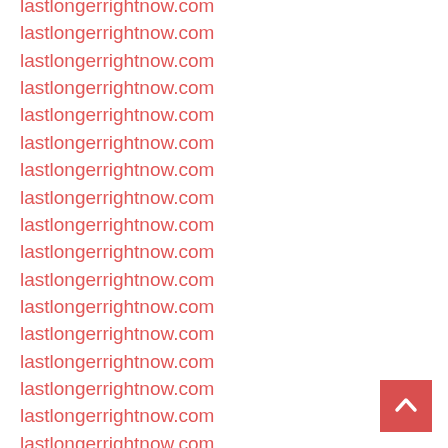lastlongerrightnow.com
lastlongerrightnow.com
lastlongerrightnow.com
lastlongerrightnow.com
lastlongerrightnow.com
lastlongerrightnow.com
lastlongerrightnow.com
lastlongerrightnow.com
lastlongerrightnow.com
lastlongerrightnow.com
lastlongerrightnow.com
lastlongerrightnow.com
lastlongerrightnow.com
lastlongerrightnow.com
lastlongerrightnow.com
lastlongerrightnow.com
lastlongerrightnow.com
lastlongerrightnow.com
lastlongerrightnow.com
lastlongerrightnow.com
lastlongerrightnow.com